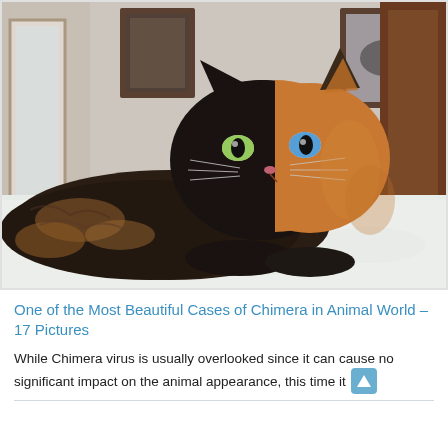[Figure (photo): A chimera cat lying on a white bed. The cat's face is dramatically split down the middle — the left side is black/dark with a green eye, and the right side is orange/tabby with a blue eye. Two framed pictures are visible on the wall in the background.]
One of the Most Beautiful Cases of Chimera in Animal World – 17 Pictures
While Chimera virus is usually overlooked since it can cause no significant impact on the animal appearance, this time it